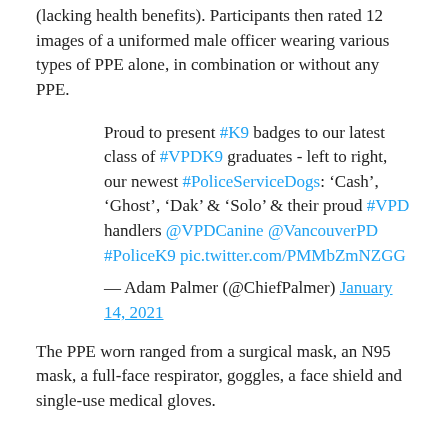(lacking health benefits). Participants then rated 12 images of a uniformed male officer wearing various types of PPE alone, in combination or without any PPE.
Proud to present #K9 badges to our latest class of #VPDK9 graduates - left to right, our newest #PoliceServiceDogs: 'Cash', 'Ghost', 'Dak' & 'Solo' & their proud #VPD handlers @VPDCanine @VancouverPD #PoliceK9 pic.twitter.com/PMMbZmNZGG
— Adam Palmer (@ChiefPalmer) January 14, 2021
The PPE worn ranged from a surgical mask, an N95 mask, a full-face respirator, goggles, a face shield and single-use medical gloves.